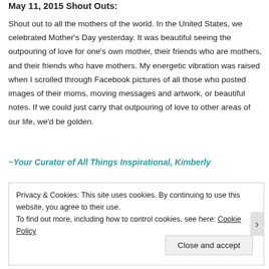May 11, 2015 Shout Outs:
Shout out to all the mothers of the world. In the United States, we celebrated Mother's Day yesterday. It was beautiful seeing the outpouring of love for one's own mother, their friends who are mothers, and their friends who have mothers. My energetic vibration was raised when I scrolled through Facebook pictures of all those who posted images of their moms, moving messages and artwork, or beautiful notes. If we could just carry that outpouring of love to other areas of our life, we'd be golden.
~Your Curator of All Things Inspirational, Kimberly
Privacy & Cookies: This site uses cookies. By continuing to use this website, you agree to their use.
To find out more, including how to control cookies, see here: Cookie Policy
Close and accept